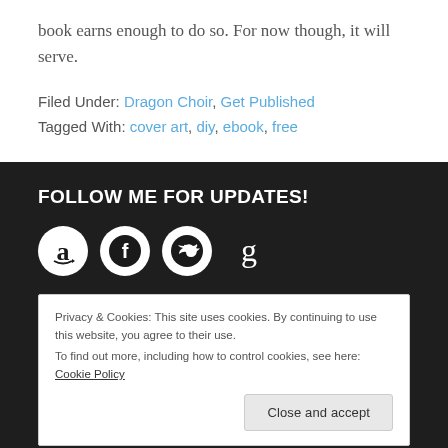book earns enough to do so. For now though, it will serve.
Filed Under: Dragon Choir, Get Published
Tagged With: cover art, diy, ebook, free
FOLLOW ME FOR UPDATES!
[Figure (other): Social media icons: Amazon, Facebook, Twitter, Goodreads]
Privacy & Cookies: This site uses cookies. By continuing to use this website, you agree to their use.
To find out more, including how to control cookies, see here: Cookie Policy
buy something via one of those links I may